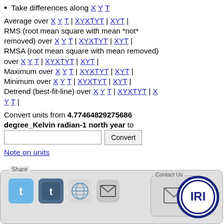Take differences along X Y T
Average over X Y T | X Y X T Y T | X Y T | RMS (root mean square with mean *not* removed) over X Y T | X Y X T Y T | X Y T | RMSA (root mean square with mean removed) over X Y T | X Y X T Y T | X Y T | Maximum over X Y T | X Y X T Y T | X Y T | Minimum over X Y T | X Y X T Y T | X Y T | Detrend (best-fit-line) over X Y T | X Y X T Y T | X Y T |
Convert units from 4.77464829275686 degree_Kelvin radian-1 north year to [input] Convert
Note on units